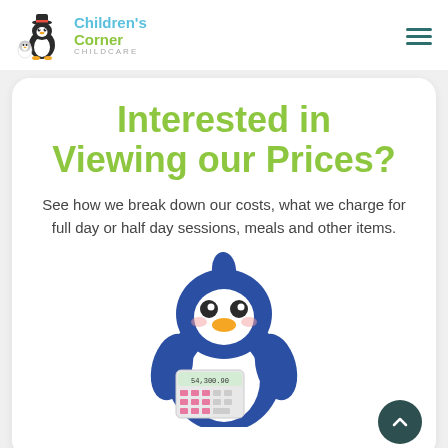Children's Corner Childcare — navigation header with logo and hamburger menu
Interested in Viewing our Prices?
See how we break down our costs, what we charge for full day or half day sessions, meals and other items.
[Figure (illustration): Cartoon blue penguin mascot holding a calculator showing '54,300.90']